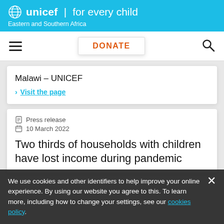unicef for every child | Eastern and Southern Africa
DONATE
Malawi – UNICEF
› Visit the page
Press release
10 March 2022
Two thirds of households with children have lost income during pandemic
We use cookies and other identifiers to help improve your online experience. By using our website you agree to this. To learn more, including how to change your settings, see our cookies policy.